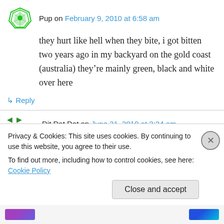Pup on February 9, 2010 at 6:58 am
they hurt like hell when they bite, i got bitten two years ago in my backyard on the gold coast (australia) they’re mainly green, black and white over here
↵ Reply
Dit Dat Dot on June 21, 2010 at 3:24 am
Nice to know I’m not the only one who thinks
Privacy & Cookies: This site uses cookies. By continuing to use this website, you agree to their use.
To find out more, including how to control cookies, see here: Cookie Policy
Close and accept